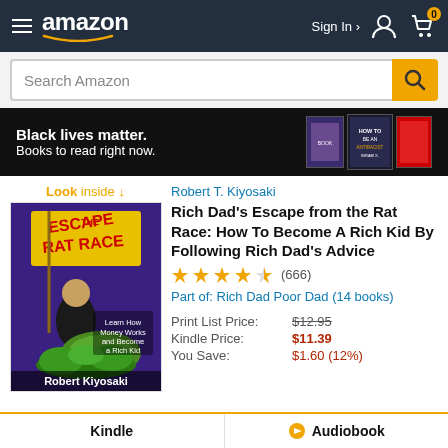amazon  Sign In  0
Search Amazon
[Figure (infographic): Black banner with text 'Black lives matter. Books to read right now.' and book covers on the right]
Look inside ↓
[Figure (illustration): Book cover: Escape the Rat Race by Robert Kiyosaki. Purple background with cartoon character holding a yellow flag, riding a turtle on money. Text: Learn How Money Works and Become a Rich Kid.]
Robert T. Kiyosaki
Rich Dad's Escape from the Rat Race: How To Become A Rich Kid By Following Rich Dad's Advice
★★★★½ (666)
Part of: Rich Dad Poor Dad (14 books)
| Label | Value |
| --- | --- |
| Print List Price: | $12.95 |
| Kindle Price: | $11.39 |
| You Save: | $1.60 (12%) |
Kindle    Audiobook